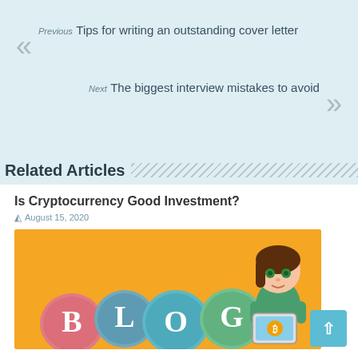Previous
Tips for writing an outstanding cover letter
Next
The biggest interview mistakes to avoid
Related Articles
Is Cryptocurrency Good Investment?
August 15, 2020
[Figure (illustration): Blog illustration with colorful speech bubble letters spelling BLOG and a cartoon girl with brown hair and green eyes sitting at a tablet/device, on an orange background]